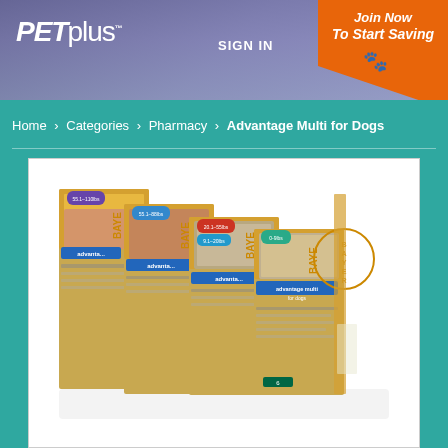PETplus™  SIGN IN  Join Now To Start Saving
Home > Categories > Pharmacy > Advantage Multi for Dogs
[Figure (photo): Five Advantage Multi for Dogs product boxes displayed in a fan arrangement, showing different sizes for different dog weight ranges. Bayer branded packaging on yellow/gold boxes with photos of various dog breeds.]
Advantage Multi for Dogs